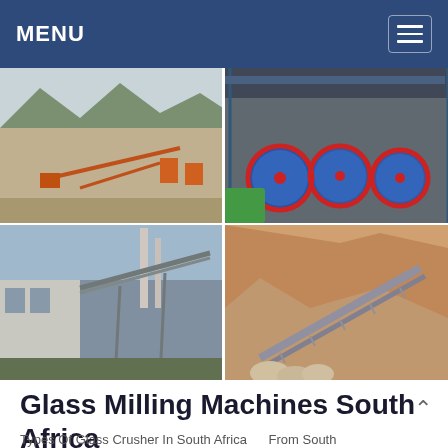MENU
[Figure (photo): Four industrial mining/milling site photos arranged in a 2x2 grid: top-left shows an open-air mining site with conveyors and mountains; top-right shows large ball mills in an industrial facility; bottom-left shows a steel-structure industrial plant exterior; bottom-right shows conveyor belts in an open-pit mine.]
Glass Milling Machines South Africa
Types Of Glass Crusher In South Africa    From South